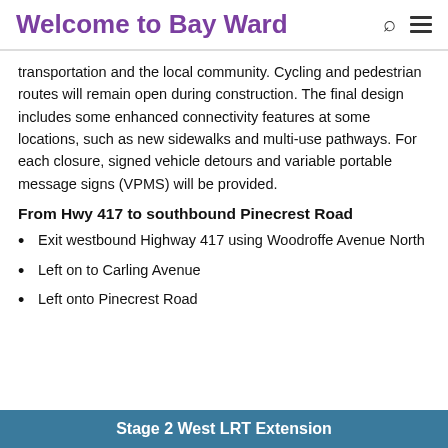Welcome to Bay Ward
transportation and the local community. Cycling and pedestrian routes will remain open during construction. The final design includes some enhanced connectivity features at some locations, such as new sidewalks and multi-use pathways. For each closure, signed vehicle detours and variable portable message signs (VPMS) will be provided.
From Hwy 417 to southbound Pinecrest Road
Exit westbound Highway 417 using Woodroffe Avenue North
Left on to Carling Avenue
Left onto Pinecrest Road
Stage 2 West LRT Extension